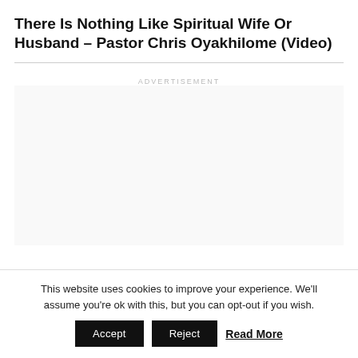There Is Nothing Like Spiritual Wife Or Husband – Pastor Chris Oyakhilome (Video)
[Figure (other): Advertisement placeholder area with light grey background]
This website uses cookies to improve your experience. We'll assume you're ok with this, but you can opt-out if you wish.
Accept | Reject | Read More